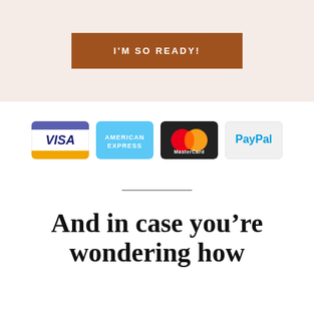I'M SO READY!
[Figure (logo): Payment method logos: Visa, American Express, MasterCard, PayPal]
And in case you're wondering how